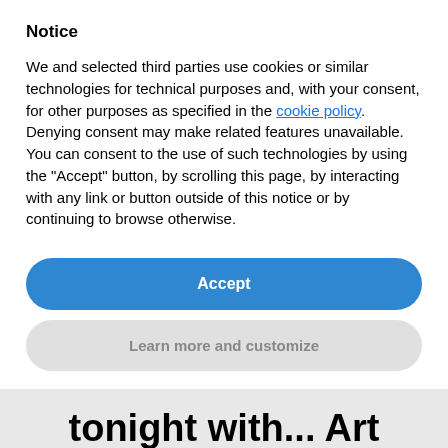Notice
We and selected third parties use cookies or similar technologies for technical purposes and, with your consent, for other purposes as specified in the cookie policy. Denying consent may make related features unavailable.
You can consent to the use of such technologies by using the “Accept” button, by scrolling this page, by interacting with any link or button outside of this notice or by continuing to browse otherwise.
Accept
Learn more and customize
tonight with... Art Donovan